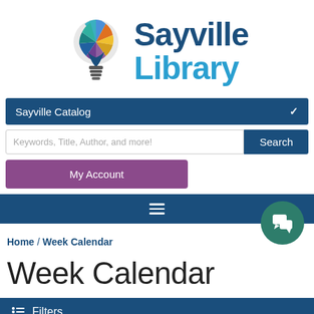[Figure (logo): Sayville Library logo with colorful lightbulb icon and blue text reading 'Sayville Library']
Sayville Catalog
Keywords, Title, Author, and more!
Search
My Account
Home / Week Calendar
Week Calendar
Filters